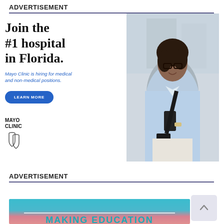ADVERTISEMENT
[Figure (photo): Mayo Clinic advertisement: Woman in light blue shirt holding a phone, smiling. Text reads 'Join the #1 hospital in Florida. Mayo Clinic is hiring for medical and non-medical positions.' with a 'LEARN MORE' button and Mayo Clinic logo.]
ADVERTISEMENT
[Figure (photo): Partially visible advertisement banner with teal/blue to pink gradient background, white horizontal line, and text 'MAKING EDUCATION' in teal letters.]